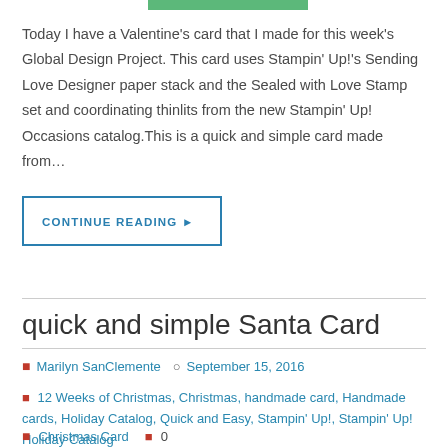[Figure (other): Green decorative bar at top of page]
Today I have a Valentine’s card that I made for this week’s Global Design Project. This card uses Stampin’ Up!’s Sending Love Designer paper stack and the Sealed with Love Stamp set and coordinating thinlits from the new Stampin’ Up! Occasions catalog.This is a quick and simple card made from…
CONTINUE READING ▸
quick and simple Santa Card
Marilyn SanClemente   September 15, 2016
12 Weeks of Christmas, Christmas, handmade card, Handmade cards, Holiday Catalog, Quick and Easy, Stampin’ Up!, Stampin’ Up! Holiday Catalog
Christmas Card  0